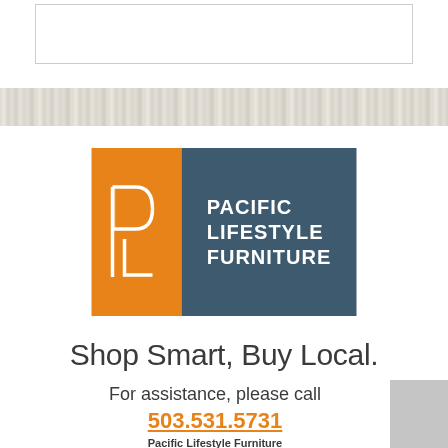[Figure (other): Empty white bordered rectangle at top of page]
[Figure (other): Light gray textured horizontal band]
[Figure (logo): Pacific Lifestyle Furniture logo: orange square with PLF monogram letters on left, dark blue-gray rectangle with text PACIFIC LIFESTYLE FURNITURE on right]
Shop Smart, Buy Local.
For assistance, please call
503.531.5731
Pacific Lifestyle Furniture